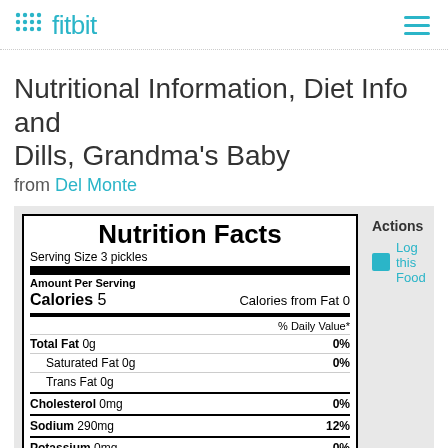fitbit
Nutritional Information, Diet Info and Dills, Grandma's Baby
from Del Monte
| Nutrient | Amount | % Daily Value |
| --- | --- | --- |
| Serving Size | 3 pickles |  |
| Calories | 5 |  |
| Calories from Fat | 0 |  |
| Total Fat | 0g | 0% |
| Saturated Fat | 0g | 0% |
| Trans Fat | 0g |  |
| Cholesterol | 0mg | 0% |
| Sodium | 290mg | 12% |
| Potassium | 0mg | 0% |